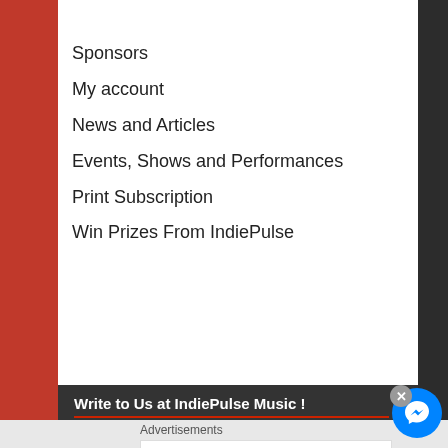Sponsors
My account
News and Articles
Events, Shows and Performances
Print Subscription
Win Prizes From IndiePulse
Write to Us at IndiePulse Music !
Indie Pulse Music Magazine
P.O.Box 6382
Santa Maria, CA 93456-6382
Open 24- 7, For the Love of Music Baby !
News/Media Service Partner
Advertisements